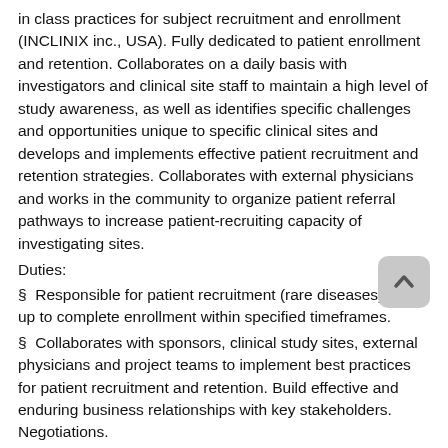in class practices for subject recruitment and enrollment (INCLINIX inc., USA). Fully dedicated to patient enrollment and retention. Collaborates on a daily basis with investigators and clinical site staff to maintain a high level of study awareness, as well as identifies specific challenges and opportunities unique to specific clinical sites and develops and implements effective patient recruitment and retention strategies. Collaborates with external physicians and works in the community to organize patient referral pathways to increase patient-recruiting capacity of investigating sites.
Duties:
§  Responsible for patient recruitment (rare diseases) start up to complete enrollment within specified timeframes.
§  Collaborates with sponsors, clinical study sites, external physicians and project teams to implement best practices for patient recruitment and retention. Build effective and enduring business relationships with key stakeholders. Negotiations.
§  Develops and executes site specific patient recruitment and retention plans for domestic and international projects (Russia and Ukraine).